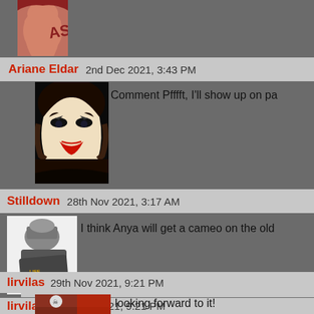[Figure (illustration): Partial avatar image at top, comic-style illustration cropped at top]
Ariane Eldar   2nd Dec 2021, 3:43 PM
[Figure (illustration): Avatar of Ariane Eldar - gothic woman with heavy makeup, red lips, dark eye makeup, black and white illustration style]
Comment Pfffft, I'll show up on pa
Stilldown   28th Nov 2021, 3:17 AM
[Figure (illustration): Avatar of Stilldown - cartoon drawing of a boot stepping on a small figure, with speech bubble saying OUCH]
I think Anya will get a cameo on the old
lirvilas   29th Nov 2021, 9:21 PM
[Figure (illustration): Avatar of lirvilas - comic style character with skull and crossbones hat, pirate theme]
looking forward to it!